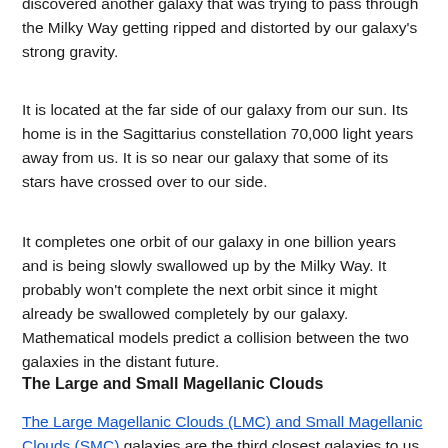discovered another galaxy that was trying to pass through the Milky Way getting ripped and distorted by our galaxy's strong gravity.
It is located at the far side of our galaxy from our sun. Its home is in the Sagittarius constellation 70,000 light years away from us. It is so near our galaxy that some of its stars have crossed over to our side.
It completes one orbit of our galaxy in one billion years and is being slowly swallowed up by the Milky Way. It probably won't complete the next orbit since it might already be swallowed completely by our galaxy. Mathematical models predict a collision between the two galaxies in the distant future.
The Large and Small Magellanic Clouds
The Large Magellanic Clouds (LMC) and Small Magellanic Clouds (SMC) galaxies are the third closest galaxies to us. They were thought to be our nearest neighbors until 1994.